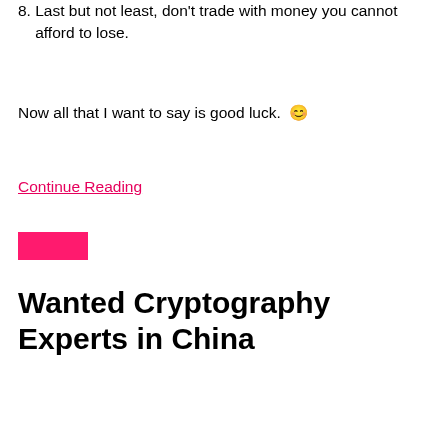8. Last but not least, don't trade with money you cannot afford to lose.
Now all that I want to say is good luck. 😊
Continue Reading
[Figure (other): Pink/magenta decorative rectangle bar]
Wanted Cryptography Experts in China